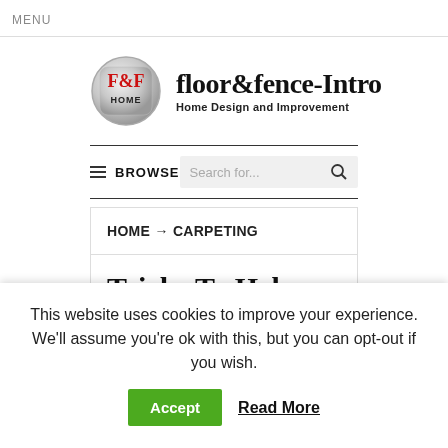MENU
[Figure (logo): F&F HOME logo — circular metallic badge with red F&F text and HOME below, next to text 'floor&fence-Intro Home Design and Improvement']
BROWSE   Search for...
HOME → CARPETING
Tricks To Help
This website uses cookies to improve your experience. We'll assume you're ok with this, but you can opt-out if you wish.
Accept   Read More